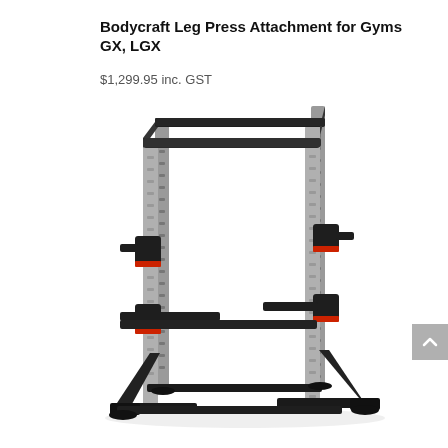Bodycraft Leg Press Attachment for Gyms GX, LGX
$1,299.95 inc. GST
[Figure (photo): A Bodycraft power rack / squat cage with grey vertical uprights, black horizontal bars, adjustable J-hooks with red accent pins, and a lower cross-brace frame on a white background.]